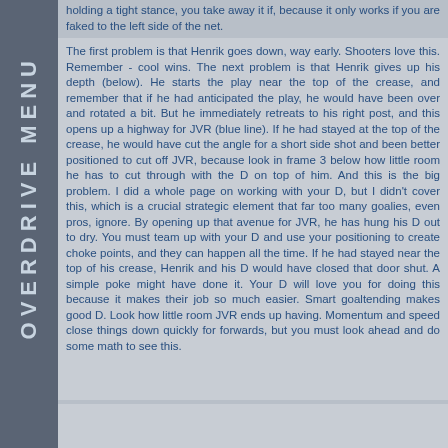holding a tight stance, you take away it if, because it only works if you are faked to the left side of the net.
The first problem is that Henrik goes down, way early. Shooters love this. Remember - cool wins. The next problem is that Henrik gives up his depth (below). He starts the play near the top of the crease, and remember that if he had anticipated the play, he would have been over and rotated a bit. But he immediately retreats to his right post, and this opens up a highway for JVR (blue line). If he had stayed at the top of the crease, he would have cut the angle for a short side shot and been better positioned to cut off JVR, because look in frame 3 below how little room he has to cut through with the D on top of him. And this is the big problem. I did a whole page on working with your D, but I didn't cover this, which is a crucial strategic element that far too many goalies, even pros, ignore. By opening up that avenue for JVR, he has hung his D out to dry. You must team up with your D and use your positioning to create choke points, and they can happen all the time. If he had stayed near the top of his crease, Henrik and his D would have closed that door shut. A simple poke might have done it. Your D will love you for doing this because it makes their job so much easier. Smart goaltending makes good D. Look how little room JVR ends up having. Momentum and speed close things down quickly for forwards, but you must look ahead and do some math to see this.